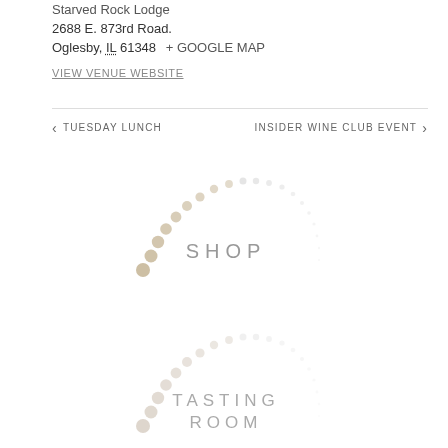Starved Rock Lodge
2688 E. 873rd Road.
Oglesby, IL 61348 + GOOGLE MAP
VIEW VENUE WEBSITE
TUESDAY LUNCH
INSIDER WINE CLUB EVENT
[Figure (illustration): Dotted arc circle with text SHOP in center]
[Figure (illustration): Dotted arc circle with text TASTING ROOM in center]